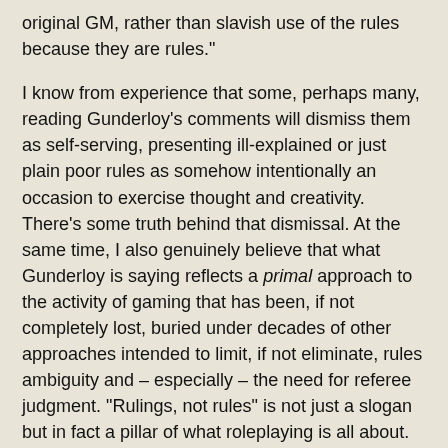original GM, rather than slavish use of the rules because they are rules."
I know from experience that some, perhaps many, reading Gunderloy's comments will dismiss them as self-serving, presenting ill-explained or just plain poor rules as somehow intentionally an occasion to exercise thought and creativity. There's some truth behind that dismissal. At the same time, I also genuinely believe that what Gunderloy is saying reflects a primal approach to the activity of gaming that has been, if not completely lost, buried under decades of other approaches intended to limit, if not eliminate, rules ambiguity and – especially – the need for referee judgment. "Rulings, not rules" is not just a slogan but in fact a pillar of what roleplaying is all about. The fact that it's nowadays seen as a facet of "old school" play is, I think, evidence of just how much the hobby has changed over the last half century.
In this respect, The Arduin Trilogy, for all its stylistic differences from Gygaxian (or even Arnesonian) Dungeons & Dragons is still very much a reflection of the earliest traditions of the hobby.